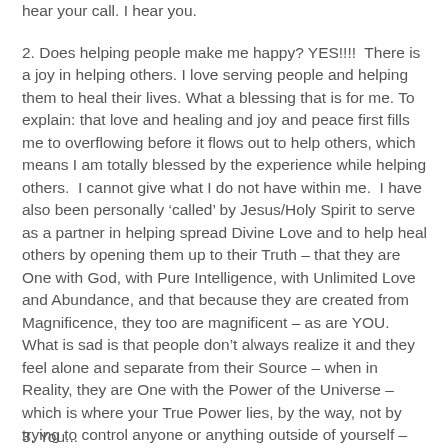hear your call. I hear you.
2. Does helping people make me happy? YES!!!!  There is a joy in helping others. I love serving people and helping them to heal their lives. What a blessing that is for me. To explain: that love and healing and joy and peace first fills me to overflowing before it flows out to help others, which means I am totally blessed by the experience while helping others.  I cannot give what I do not have within me.  I have also been personally ‘called’ by Jesus/Holy Spirit to serve as a partner in helping spread Divine Love and to help heal others by opening them up to their Truth – that they are One with God, with Pure Intelligence, with Unlimited Love and Abundance, and that because they are created from Magnificence, they too are magnificent – as are YOU.  What is sad is that people don’t always realize it and they feel alone and separate from their Source – when in Reality, they are One with the Power of the Universe – which is where your True Power lies, by the way, not by trying to control anyone or anything outside of yourself – that is a wasted effort and life.
3. You...